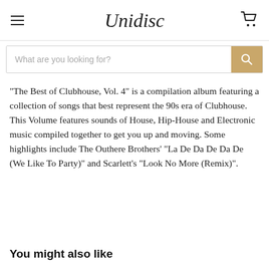Unidisc
"The Best of Clubhouse, Vol. 4" is a compilation album featuring a collection of songs that best represent the 90s era of Clubhouse. This Volume features sounds of House, Hip-House and Electronic music compiled together to get you up and moving. Some highlights include The Outhere Brothers' "La De Da De Da De (We Like To Party)" and Scarlett's "Look No More (Remix)".
You might also like